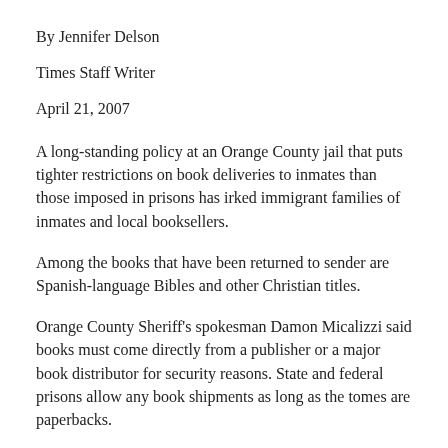By Jennifer Delson
Times Staff Writer
April 21, 2007
A long-standing policy at an Orange County jail that puts tighter restrictions on book deliveries to inmates than those imposed in prisons has irked immigrant families of inmates and local booksellers.
Among the books that have been returned to sender are Spanish-language Bibles and other Christian titles.
Orange County Sheriff's spokesman Damon Micalizzi said books must come directly from a publisher or a major book distributor for security reasons. State and federal prisons allow any book shipments as long as the tomes are paperbacks.
The Orange County policy is a sticking point for immigrant families that frequent small shops that carry Spanish-language titles, say booksellers and relatives of some inmates. Many of the books sent are religious or motivational, they say.